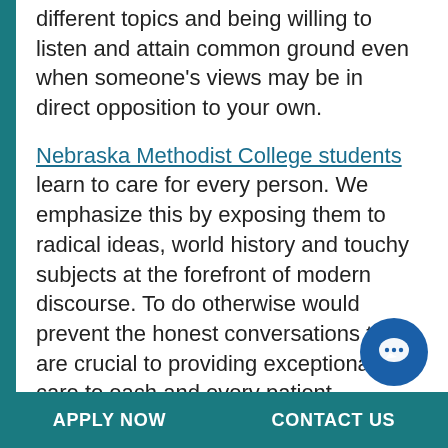different topics and being willing to listen and attain common ground even when someone's views may be in direct opposition to your own.
Nebraska Methodist College students learn to care for every person. We emphasize this by exposing them to radical ideas, world history and touchy subjects at the forefront of modern discourse. To do otherwise would prevent the honest conversations that are crucial to providing exceptional care to each and every patient.
Every soul is exceptional, every patient is an incredible person who deserves to be treated with dignity, respect and the utmost
APPLY NOW   CONTACT US